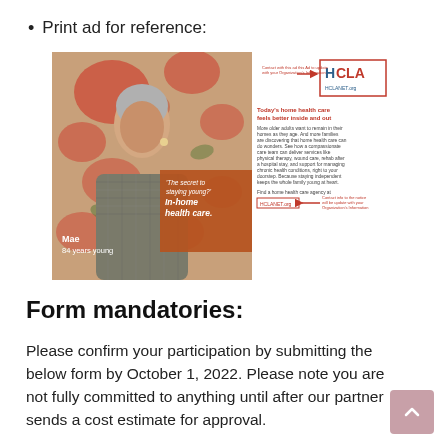Print ad for reference:
[Figure (illustration): Print advertisement showing an older woman named Mae, 84 years young, with text 'The secret to staying young? In-home health care.' and HCLA/HCLANET.org logo, with body copy about home health care services.]
Form mandatories:
Please confirm your participation by submitting the below form by October 1, 2022. Please note you are not fully committed to anything until after our partner sends a cost estimate for approval.